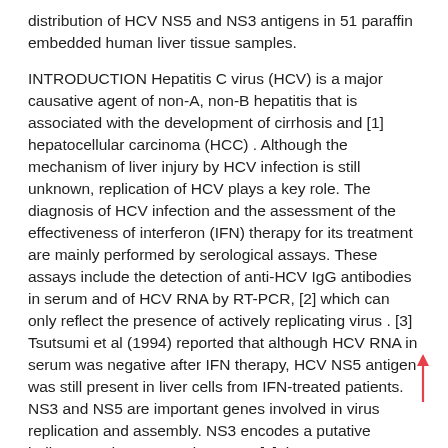distribution of HCV NS5 and NS3 antigens in 51 paraffin embedded human liver tissue samples.
INTRODUCTION Hepatitis C virus (HCV) is a major causative agent of non-A, non-B hepatitis that is associated with the development of cirrhosis and [1] hepatocellular carcinoma (HCC) . Although the mechanism of liver injury by HCV infection is still unknown, replication of HCV plays a key role. The diagnosis of HCV infection and the assessment of the effectiveness of interferon (IFN) therapy for its treatment are mainly performed by serological assays. These assays include the detection of anti-HCV IgG antibodies in serum and of HCV RNA by RT-PCR, [2] which can only reflect the presence of actively replicating virus . [3] Tsutsumi et al (1994) reported that although HCV RNA in serum was negative after IFN therapy, HCV NS5 antigen was still present in liver cells from IFN-treated patients. NS3 and NS5 are important genes involved in virus replication and assembly. NS3 encodes a putative helicase and NS5 encodes a puta[4] tive RNA-dependent RNA polymerase . Monoclonal antibodies against these two proteins would be useful for the